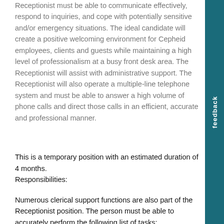Receptionist must be able to communicate effectively, respond to inquiries, and cope with potentially sensitive and/or emergency situations. The ideal candidate will create a positive welcoming environment for Cepheid employees, clients and guests while maintaining a high level of professionalism at a busy front desk area. The Receptionist will assist with administrative support. The Receptionist will also operate a multiple-line telephone system and must be able to answer a high volume of phone calls and direct those calls in an efficient, accurate and professional manner.
This is a temporary position with an estimated duration of 4 months.
Responsibilities:
Numerous clerical support functions are also part of the Receptionist position. The person must be able to accurately perform the following list of tasks:
Sort and deliver mail
Order office supplies
Manage kitchen supplies